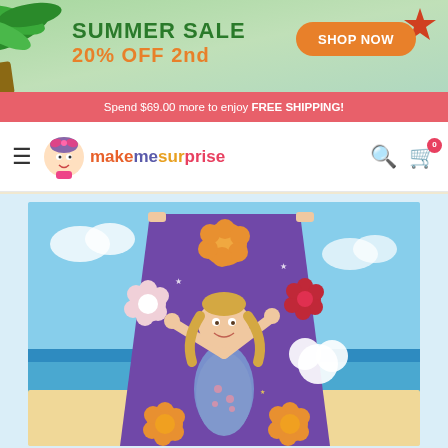[Figure (screenshot): Summer sale banner with green background, palm tree on left, starfish top right, orange 'SHOP NOW' button]
Spend $69.00 more to enjoy FREE SHIPPING!
[Figure (logo): MakeMeSurprise logo with cartoon doll character and colorful text]
[Figure (photo): Custom beach towel product photo showing a young girl's face on a purple floral blanket design, held up against a beach background]